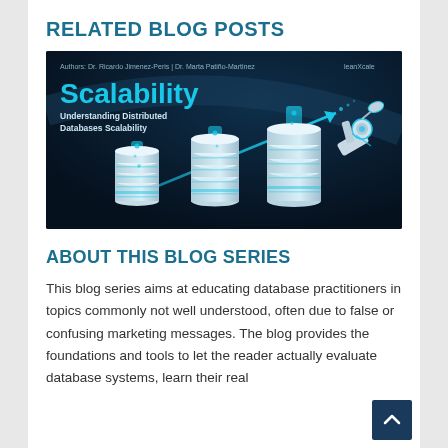RELATED BLOG POSTS
[Figure (illustration): Blog post thumbnail image showing three stacked database cylinders of increasing size with glowing blue beams, a diagonal arrow pointing upward, a robotic arm on the right, and text 'Scalability - Understanding Distributed Databases Scalability' on a dark blue background.]
ABOUT THIS BLOG SERIES
This blog series aims at educating database practitioners in topics commonly not well understood, often due to false or confusing marketing messages. The blog provides the foundations and tools to let the reader actually evaluate database systems, learn their real